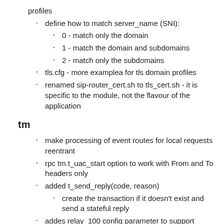profiles
define how to match server_name (SNI):
0 - match only the domain
1 - match the domain and subdomains
2 - match only the subdomains
tls.cfg - more examplea for tls domain profiles
renamed sip-router_cert.sh to tls_cert.sh - it is specific to the module, not the flavour of the application
tm
make processing of event routes for local requests reentrant
rpc tm.t_uac_start option to work with From and To headers only
added t_send_reply(code, reason)
create the transaction if it doesn't exist and send a stateful reply
addes relay_100 config parameter to support stateless operations